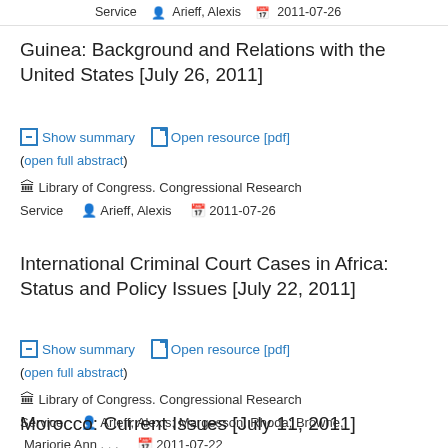Service  Arieff, Alexis  2011-07-26
Guinea: Background and Relations with the United States [July 26, 2011]
Show summary  Open resource [pdf]  (open full abstract)  Library of Congress. Congressional Research Service  Arieff, Alexis  2011-07-26
International Criminal Court Cases in Africa: Status and Policy Issues [July 22, 2011]
Show summary  Open resource [pdf]  (open full abstract)  Library of Congress. Congressional Research Service  Arieff, Alexis; Margesson, Rhoda; Browne, Marjorie Ann . . .  2011-07-22
Morocco: Current Issues [July 11, 2011]